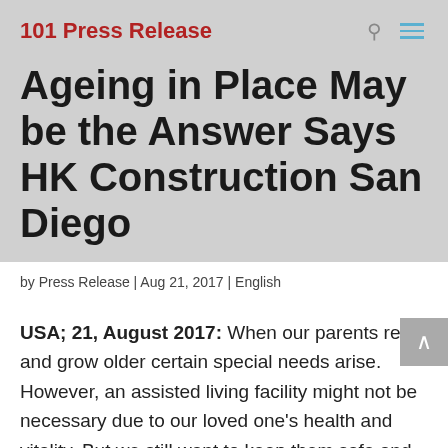101 Press Release
Ageing in Place May be the Answer Says HK Construction San Diego
by Press Release | Aug 21, 2017 | English
USA; 21, August 2017: When our parents retire and grow older certain special needs arise. However, an assisted living facility might not be necessary due to our loved one's health and vitality. But we still want to keep them safe and close without compromising their independence.